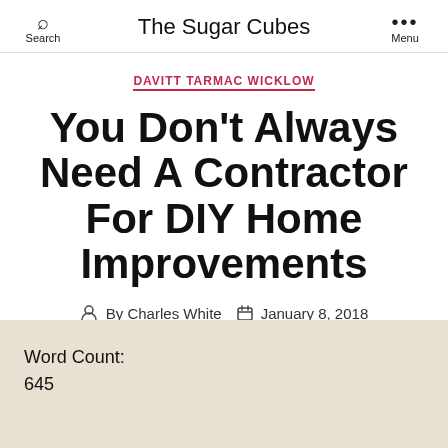Search   The Sugar Cubes   Menu
DAVITT TARMAC WICKLOW
You Don't Always Need A Contractor For DIY Home Improvements
By Charles White   January 8, 2018
Word Count:
645